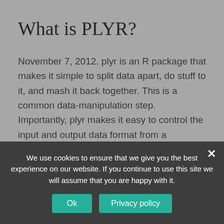What is PLYR?
November 7, 2012. plyr is an R package that makes it simple to split data apart, do stuff to it, and mash it back together. This is a common data-manipulation step. Importantly, plyr makes it easy to control the input and output data format from a syntactically consistent set of functions.
What is PLYR package?
plyr is an R package that makes it simple to split data apart, do stuff to it, and mash it back together. This is a common data-manipulation step.
We use cookies to ensure that we give you the best experience on our website. If you continue to use this site we will assume that you are happy with it.